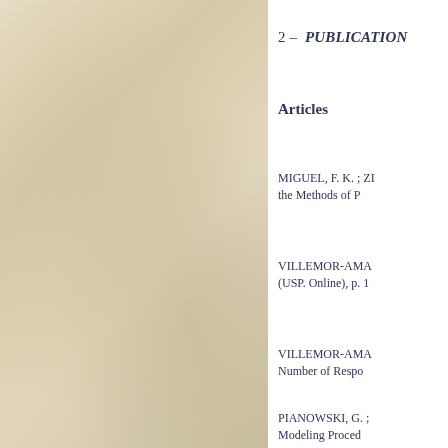[Figure (photo): Aged parchment or textured paper background filling the left portion of the page]
2 – PUBLICATIONS
Articles
MIGUEL, F. K. ; ZI... the Methods of P...
VILLEMOR-AMA... (USP. Online), p. 1...
VILLEMOR-AMA... Number of Respo...
PIANOWSKI, G. ; ... Modeling Proced... Assessment , p...